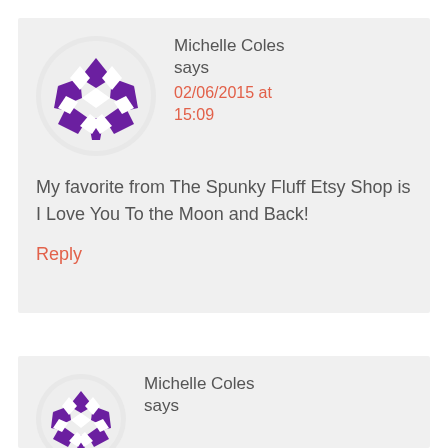[Figure (illustration): Purple geometric pattern avatar in a white circle on grey background]
Michelle Coles says
02/06/2015 at 15:09
My favorite from The Spunky Fluff Etsy Shop is I Love You To the Moon and Back!
Reply
[Figure (illustration): Purple geometric pattern avatar in a white circle on grey background]
Michelle Coles says